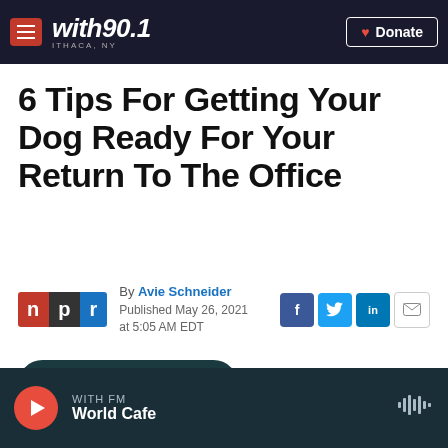with90.1 ITHACA, NY — Donate
6 Tips For Getting Your Dog Ready For Your Return To The Office
By Avie Schneider
Published May 26, 2021 at 5:05 AM EDT
LISTEN • 3:46
WITH FM
World Cafe